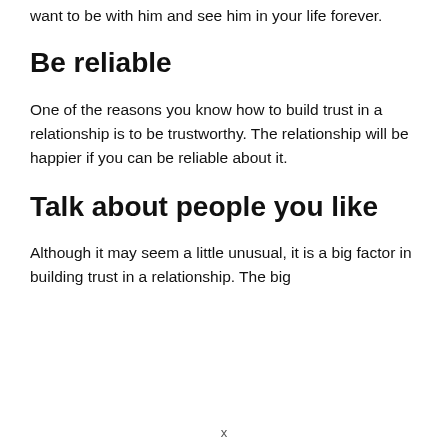want to be with him and see him in your life forever.
Be reliable
One of the reasons you know how to build trust in a relationship is to be trustworthy. The relationship will be happier if you can be reliable about it.
Talk about people you like
Although it may seem a little unusual, it is a big factor in building trust in a relationship. The big
x